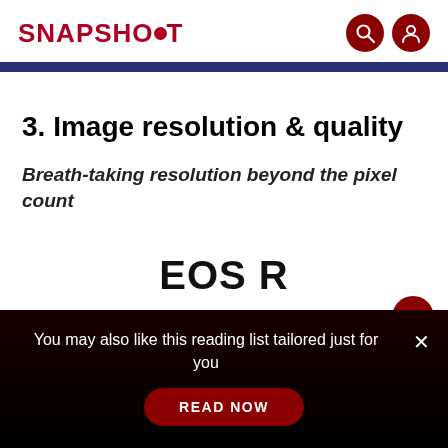SNAPSHOT
3. Image resolution & quality
Breath-taking resolution beyond the pixel count
EOS R
You may also like this reading list tailored just for you
READ NOW